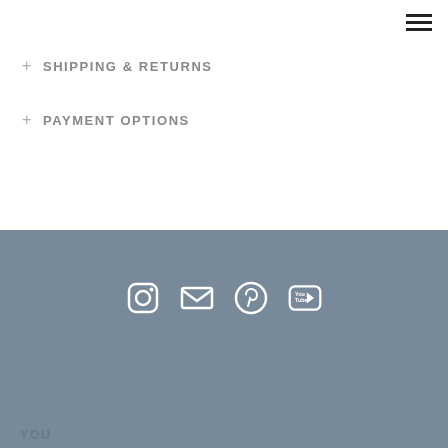[Figure (other): Hamburger menu icon (three horizontal lines) in top right corner]
+ SHIPPING & RETURNS
+ PAYMENT OPTIONS
[Figure (infographic): Row of four social media icons on grey background: Instagram, Email/Mail, Pinterest, YouTube]
YOU